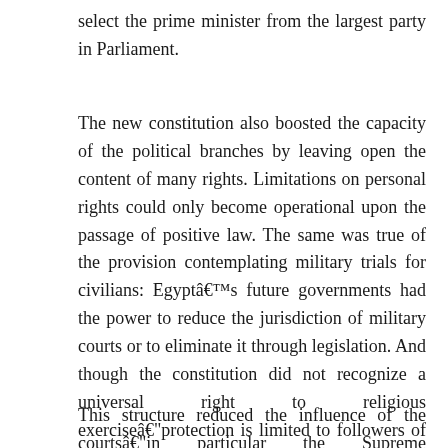select the prime minister from the largest party in Parliament.
The new constitution also boosted the capacity of the political branches by leaving open the content of many rights. Limitations on personal rights could only become operational upon the passage of positive law. The same was true of the provision contemplating military trials for civilians: Egypt’s future governments had the power to reduce the jurisdiction of military courts or to eliminate it through legislation. And though the constitution did not recognize a universal right to religious exercise–protection is limited to followers of the three Abrahamic religions–it did not prevent the state from doing so in the future by statute.
This structure reduced the influence of the courts–in particular the Supreme Constitutional Court–by